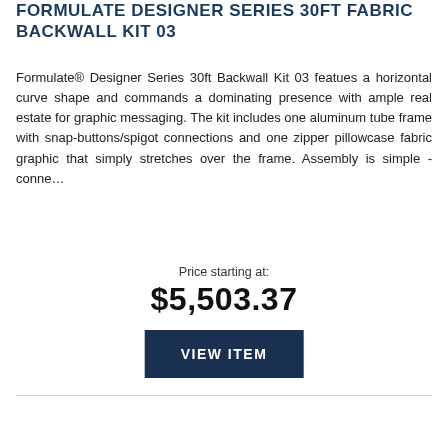FORMULATE DESIGNER SERIES 30FT FABRIC BACKWALL KIT 03
Formulate® Designer Series 30ft Backwall Kit 03 featues a horizontal curve shape and commands a dominating presence with ample real estate for graphic messaging. The kit includes one aluminum tube frame with snap-buttons/spigot connections and one zipper pillowcase fabric graphic that simply stretches over the frame. Assembly is simple - conne…
Price starting at:
$5,503.37
VIEW ITEM